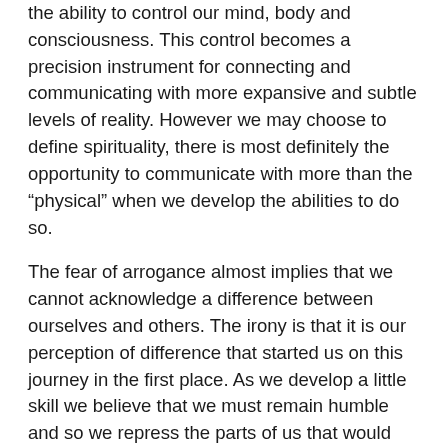the ability to control our mind, body and consciousness. This control becomes a precision instrument for connecting and communicating with more expansive and subtle levels of reality. However we may choose to define spirituality, there is most definitely the opportunity to communicate with more than the “physical” when we develop the abilities to do so.
The fear of arrogance almost implies that we cannot acknowledge a difference between ourselves and others. The irony is that it is our perception of difference that started us on this journey in the first place. As we develop a little skill we believe that we must remain humble and so we repress the parts of us that would acknowledge these skills. This repression is a conscious and direct shutting down of our awareness. For anyone who has ever felt that they have practiced much and yet felt limited somehow, this may have some significance.
The other controlling element of arrogance is the fear that if